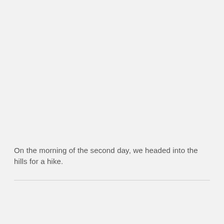On the morning of the second day, we headed into the hills for a hike.